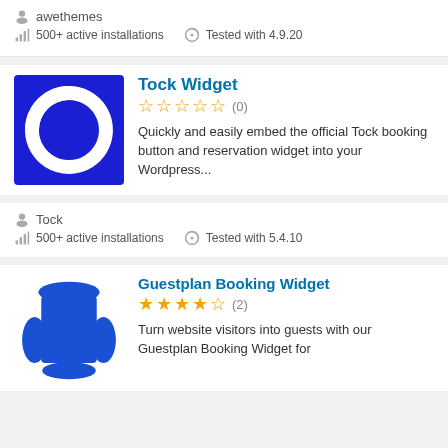awethemes
500+ active installations   Tested with 4.9.20
Tock Widget
☆☆☆☆☆ (0)
Quickly and easily embed the official Tock booking button and reservation widget into your Wordpress...
Tock
500+ active installations   Tested with 5.4.10
Guestplan Booking Widget
★★★★☆ (2)
Turn website visitors into guests with our Guestplan Booking Widget for